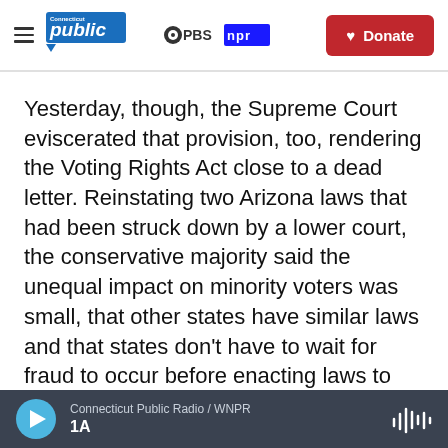Connecticut Public | PBS | npr — Donate
Yesterday, though, the Supreme Court eviscerated that provision, too, rendering the Voting Rights Act close to a dead letter. Reinstating two Arizona laws that had been struck down by a lower court, the conservative majority said the unequal impact on minority voters was small, that other states have similar laws and that states don't have to wait for fraud to occur before enacting laws to prevent it. Writing for the conservative majority, Justice Samuel Alito said that just because voting may be,
Connecticut Public Radio / WNPR | 1A